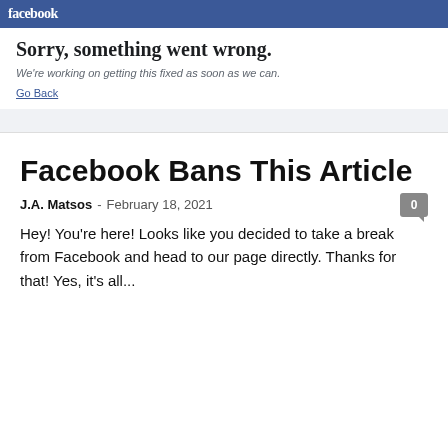[Figure (screenshot): Facebook error page screenshot showing the Facebook logo on a blue header bar, and the text 'Sorry, something went wrong.' followed by 'We're working on getting this fixed as soon as we can.' and a 'Go Back' link. The image appears slightly blurred.]
Facebook Bans This Article
J.A. Matsos  -  February 18, 2021
Hey! You're here! Looks like you decided to take a break from Facebook and head to our page directly. Thanks for that! Yes, it's all...